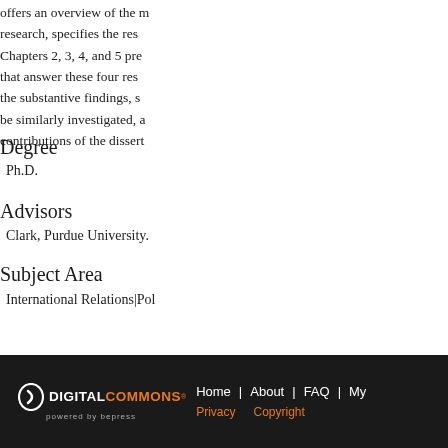offers an overview of the research, specifies the res... Chapters 2, 3, 4, and 5 pre... that answer these four res... the substantive findings, s... be similarly investigated, a... contributions of the dissert...
Degree
Ph.D.
Advisors
Clark, Purdue University.
Subject Area
International Relations|Pol...
DIGITAL COMMONS powered by bepress | Home | About | FAQ | My... | Privacy | Copyright